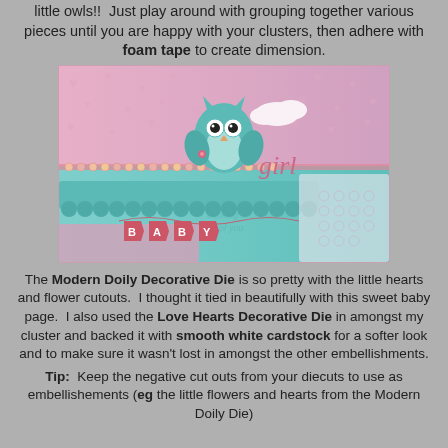little owls!!  Just play around with grouping together various pieces until you are happy with your clusters, then adhere with foam tape to create dimension.
[Figure (photo): A baby scrapbook card featuring a teal owl, pink patterned paper, a 'BABY' banner, doily decorations, and the word 'girl' in script.]
The Modern Doily Decorative Die is so pretty with the little hearts and flower cutouts.  I thought it tied in beautifully with this sweet baby page.  I also used the Love Hearts Decorative Die in amongst my cluster and backed it with smooth white cardstock for a softer look and to make sure it wasn't lost in amongst the other embellishments.
Tip:  Keep the negative cut outs from your diecuts to use as embellishements (eg the little flowers and hearts from the Modern Doily Die)